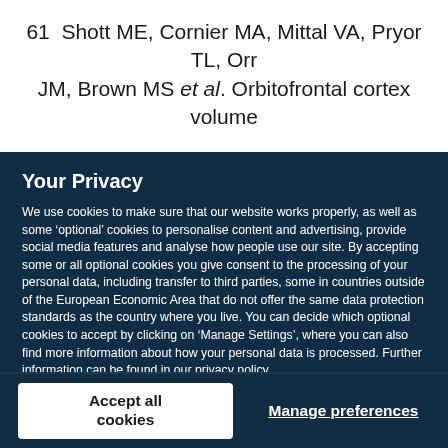61  Shott ME, Cornier MA, Mittal VA, Pryor TL, Orr JM, Brown MS et al. Orbitofrontal cortex volume
Your Privacy
We use cookies to make sure that our website works properly, as well as some ‘optional’ cookies to personalise content and advertising, provide social media features and analyse how people use our site. By accepting some or all optional cookies you give consent to the processing of your personal data, including transfer to third parties, some in countries outside of the European Economic Area that do not offer the same data protection standards as the country where you live. You can decide which optional cookies to accept by clicking on ‘Manage Settings’, where you can also find more information about how your personal data is processed. Further information can be found in our privacy policy.
Accept all cookies
Manage preferences